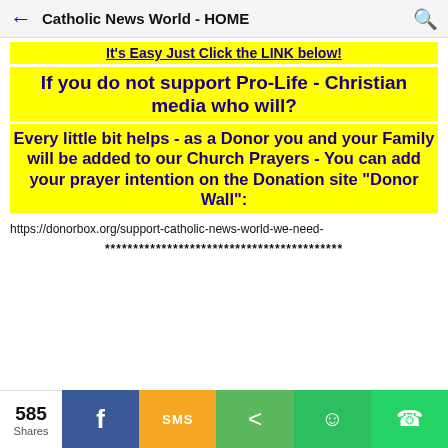Catholic News World - HOME
It's Easy Just Click the LINK below!
If you do not support Pro-Life - Christian media who will?
Every little bit helps - as a Donor you and your Family will be added to our Church Prayers - You can add your prayer intention on the Donation site "Donor Wall":
https://donorbox.org/support-catholic-news-world-we-need-
******************************************
585 Shares